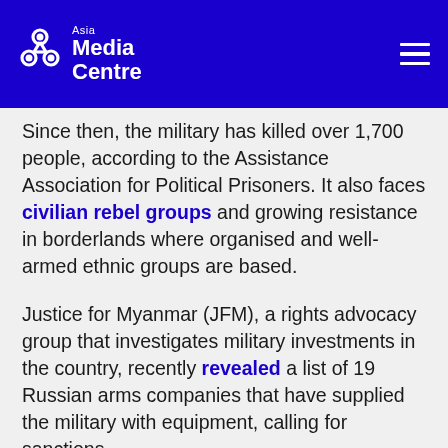Asia Media Centre
Since then, the military has killed over 1,700 people, according to the Assistance Association for Political Prisoners. It also faces civilian rebel groups and growing resistance in borderlands where organised and well-armed ethnic groups are based.
Justice for Myanmar (JFM), a rights advocacy group that investigates military investments in the country, recently revealed a list of 19 Russian arms companies that have supplied the military with equipment, calling for sanctions.
“Both Russia and China are playing a crucial role in enabling the junta’s continued atrocity crimes, which it commits with total impunity, and their support makes